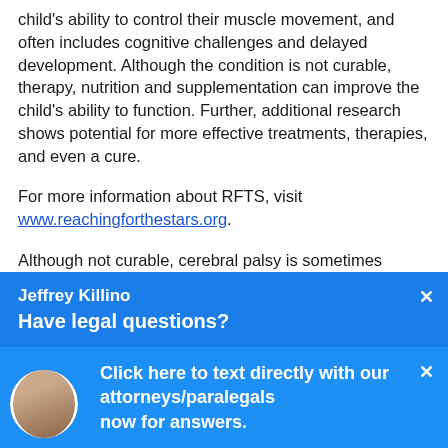child's ability to control their muscle movement, and often includes cognitive challenges and delayed development. Although the condition is not curable, therapy, nutrition and supplementation can improve the child's ability to function. Further, additional research shows potential for more effective treatments, therapies, and even a cure.
For more information about RFTS, visit www.reachingforthestars.org.
Although not curable, cerebral palsy is sometimes preventable.  Often caused by traumatic brain injury or oxygen deprivation at birth, cerebral palsy can result from a medical mistake. If your child suffers from cerebral palsy and you believe that your medical team might have contributed to your child's injury and consequent condition, you may benefit from legal counsel. Some serious cerebral palsy cases may involve medical malpractice proceedings, and victims of medical malpractice may be entitled to...
Jeffrey Killino
Have legal questions?
Click here to text directly with our attorneys/paralegals now for answers.